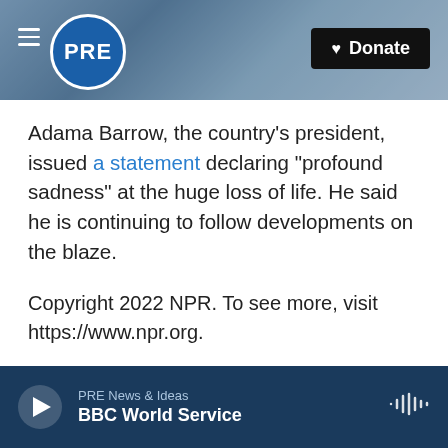PRE | Donate
Adama Barrow, the country's president, issued a statement declaring "profound sadness" at the huge loss of life. He said he is continuing to follow developments on the blaze.
Copyright 2022 NPR. To see more, visit https://www.npr.org.
US
[Figure (other): Social sharing buttons: Facebook, Twitter, LinkedIn, Email]
PRE News & Ideas | BBC World Service